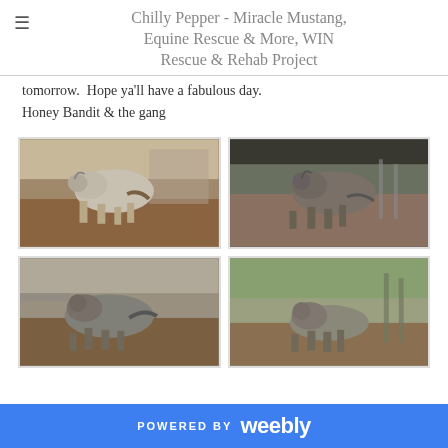Chilly Pepper - Miracle Mustang, Equine Rescue & More, WIN Rescue & Rehab Project
tomorrow.  Hope ya'll have a fabulous day.
Honey Bandit & the gang
[Figure (photo): Horse running in a dirt paddock with metal fencing in background]
[Figure (photo): Dark horse galloping in a dirt paddock with trees in background]
[Figure (photo): Horse running in a paddock, partially visible]
[Figure (photo): Horse standing in a paddock with fencing visible]
POWERED BY weebly